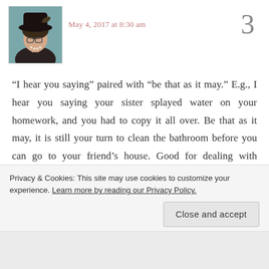[Figure (photo): Profile photo of a woman wearing glasses and a hat with feathers, dressed in dark clothing with pearl necklace, against a teal background]
May 4, 2017 at 8:30 am
3
“I hear you saying” paired with “be that as it may.” E.g., I hear you saying your sister splayed water on your homework, and you had to copy it all over. Be that as it may, it is still your turn to clean the bathroom before you can go to your friend’s house. Good for dealing with distracting drama.
Privacy & Cookies: This site may use cookies to customize your experience. Learn more by reading our Privacy Policy.
Close and accept